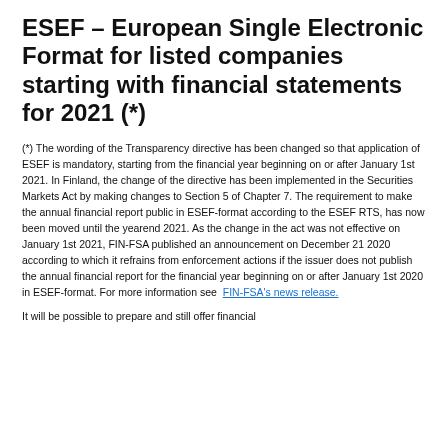ESEF – European Single Electronic Format for listed companies starting with financial statements for 2021 (*)
(*) The wording of the Transparency directive has been changed so that application of ESEF is mandatory, starting from the financial year beginning on or after January 1st 2021. In Finland, the change of the directive has been implemented in the Securities Markets Act by making changes to Section 5 of Chapter 7. The requirement to make the annual financial report public in ESEF-format according to the ESEF RTS, has now been moved until the yearend 2021. As the change in the act was not effective on January 1st 2021, FIN-FSA published an announcement on December 21 2020 according to which it refrains from enforcement actions if the issuer does not publish the annual financial report for the financial year beginning on or after January 1st 2020 in ESEF-format. For more information see FIN-FSA's news release.
It will be possible to prepare and still offer financial...